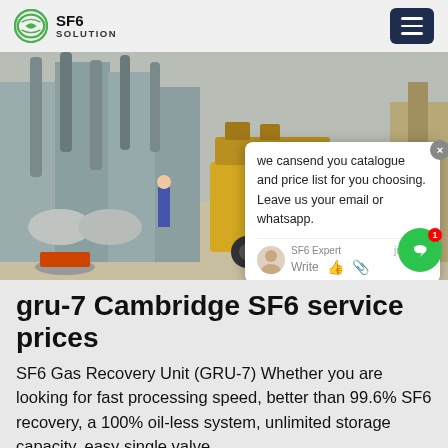SF6 SOLUTION
[Figure (photo): Outdoor electrical substation with SF6 gas-insulated equipment, grey pipe fittings, and a yellow truck (ISUZU) in the foreground. Workers visible in background.]
we cansend you catalogue and price list for you choosing. Leave us your email or whatsapp.
gru-7 Cambridge SF6 service prices
SF6 Gas Recovery Unit (GRU-7) Whether you are looking for fast processing speed, better than 99.6% SF6 recovery, a 100% oil-less system, unlimited storage capacity, easy single valve